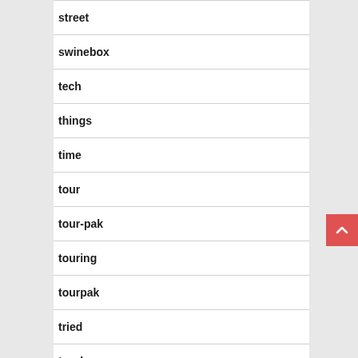street
swinebox
tech
things
time
tour
tour-pak
touring
tourpak
tried
trunk